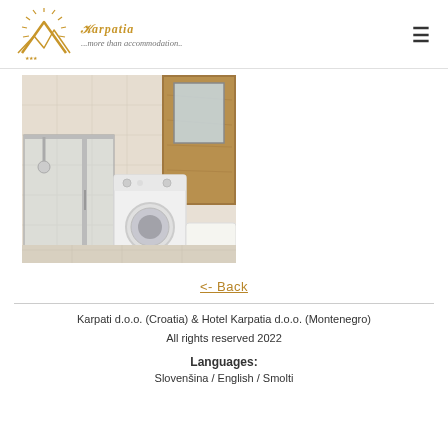Karpatia ...more than accommodation..
[Figure (photo): Bathroom photo showing a glass shower enclosure on the left and a washing machine in the center, with light beige tiles and a wooden panel on the right wall.]
<- Back
Karpati d.o.o. (Croatia) & Hotel Karpatia d.o.o. (Montenegro)
All rights reserved 2022
Languages:
Slovenšina / English / Smolti